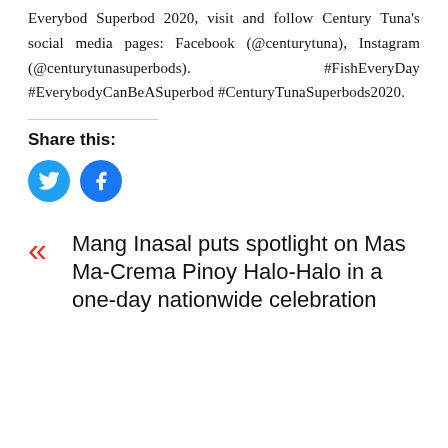Everybod Superbod 2020, visit and follow Century Tuna's social media pages: Facebook (@centurytuna), Instagram (@centurytunasuperbods). #FishEveryDay #EverybodyCanBeASuperbod #CenturyTunaSuperbods2020.
Share this:
[Figure (infographic): Twitter and Facebook circular social share buttons in blue]
« Mang Inasal puts spotlight on Mas Ma-Crema Pinoy Halo-Halo in a one-day nationwide celebration